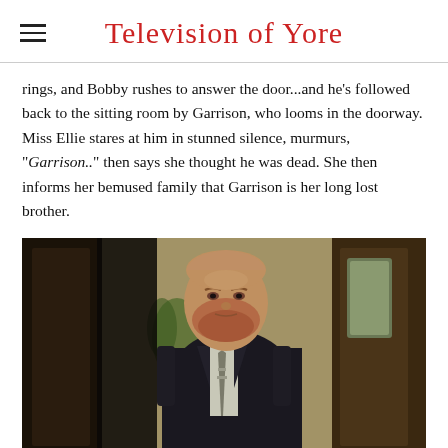Television of Yore
rings, and Bobby rushes to answer the door...and he's followed back to the sitting room by Garrison, who looms in the doorway. Miss Ellie stares at him in stunned silence, murmurs, "Garrison.." then says she thought he was dead. She then informs her bemused family that Garrison is her long lost brother.
[Figure (photo): A large heavyset man with a reddish beard wearing a dark suit and tie, standing in a doorway. The room behind him has wallpaper, a mirror, and plants visible.]